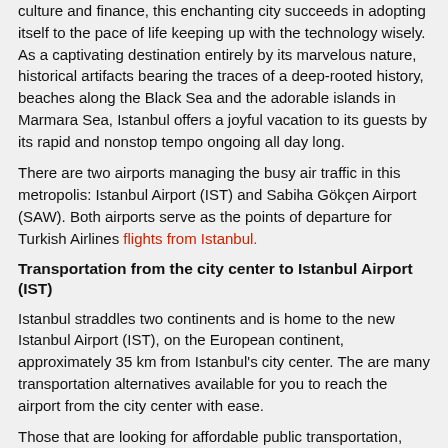culture and finance, this enchanting city succeeds in adopting itself to the pace of life keeping up with the technology wisely. As a captivating destination entirely by its marvelous nature, historical artifacts bearing the traces of a deep-rooted history, beaches along the Black Sea and the adorable islands in Marmara Sea, Istanbul offers a joyful vacation to its guests by its rapid and nonstop tempo ongoing all day long.
There are two airports managing the busy air traffic in this metropolis: Istanbul Airport (IST) and Sabiha Gökçen Airport (SAW). Both airports serve as the points of departure for Turkish Airlines flights from Istanbul.
Transportation from the city center to Istanbul Airport (IST)
Istanbul straddles two continents and is home to the new Istanbul Airport (IST), on the European continent, approximately 35 km from Istanbul's city center. The are many transportation alternatives available for you to reach the airport from the city center with ease.
Those that are looking for affordable public transportation, you can reach the airport from many spots in the city with the IETT bus services and Havaist. If you want to reach the airport in half an hour, taxi services cost around 100-110 TL. For more